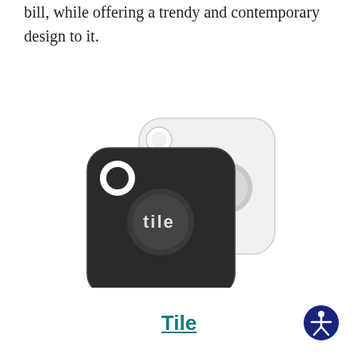bill, while offering a trendy and contemporary design to it.
[Figure (photo): Two Tile Bluetooth tracker devices — one black (front) and one white (back), both square-shaped with rounded corners. The black one has a circular hole in the top-left corner and a circular Tile logo button in the center. The white one is partially visible behind the black one.]
Tile
[Figure (logo): Accessibility icon: dark blue circle with a white stylized human figure with arms outstretched]